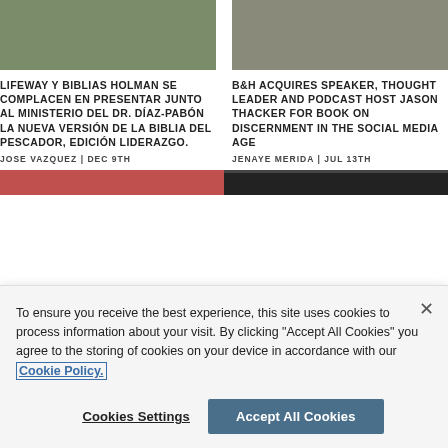[Figure (photo): Partial photo of a person holding a black Bible outdoors]
[Figure (photo): Partial photo of a man in a grey blazer]
LIFEWAY Y BIBLIAS HOLMAN SE COMPLACEN EN PRESENTAR JUNTO AL MINISTERIO DEL DR. DÍAZ-PABÓN LA NUEVA VERSIÓN DE LA BIBLIA DEL PESCADOR, EDICIÓN LIDERAZGO.
JOSE VAZQUEZ | DEC 9TH
B&H ACQUIRES SPEAKER, THOUGHT LEADER AND PODCAST HOST JASON THACKER FOR BOOK ON DISCERNMENT IN THE SOCIAL MEDIA AGE
JENAYE MERIDA | JUL 13TH
[Figure (photo): Partial colored image strip on bottom left]
[Figure (photo): Partial dark image strip on bottom right]
To ensure you receive the best experience, this site uses cookies to process information about your visit. By clicking "Accept All Cookies" you agree to the storing of cookies on your device in accordance with our Cookie Policy.
Cookies Settings
Accept All Cookies